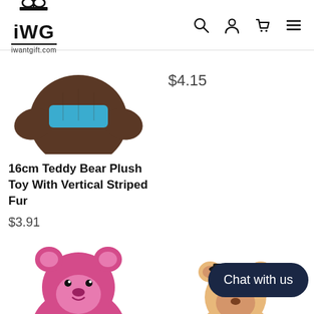[Figure (logo): iWG iwantgift.com logo with gift bow icon above the text]
[Figure (screenshot): Navigation icons: search, account, cart, hamburger menu]
[Figure (photo): Partial image of a brown teddy bear plush toy with a teal/blue element]
$4.15
16cm Teddy Bear Plush Toy With Vertical Striped Fur
$3.91
[Figure (photo): Pink/magenta teddy bear plush toy wearing a red shirt with text]
[Figure (photo): Small bear or figure wearing a graduation cap]
Chat with us